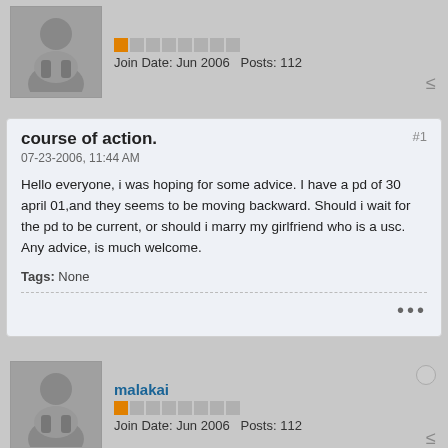Join Date: Jun 2006   Posts: 112
course of action.
07-23-2006, 11:44 AM
Hello everyone, i was hoping for some advice. I have a pd of 30 april 01,and they seems to be moving backward. Should i wait for the pd to be current, or should i marry my girlfriend who is a usc. Any advice, is much welcome.
Tags: None
malakai
Join Date: Jun 2006   Posts: 112
07-23-2006, 11:44 AM
Hello everyone, i was hoping for some advice. I have a pd of 30 april